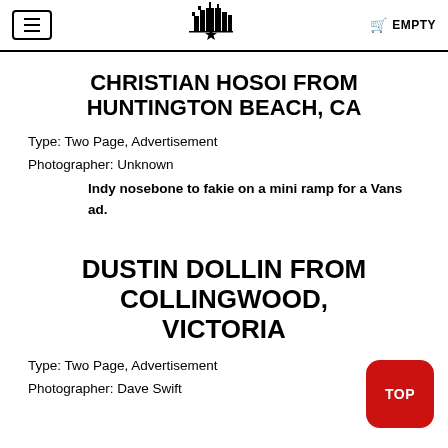EMPTY
CHRISTIAN HOSOI FROM HUNTINGTON BEACH, CA
Type: Two Page, Advertisement
Photographer: Unknown
Indy nosebone to fakie on a mini ramp for a Vans ad.
DUSTIN DOLLIN FROM COLLINGWOOD, VICTORIA
Type: Two Page, Advertisement
Photographer: Dave Swift